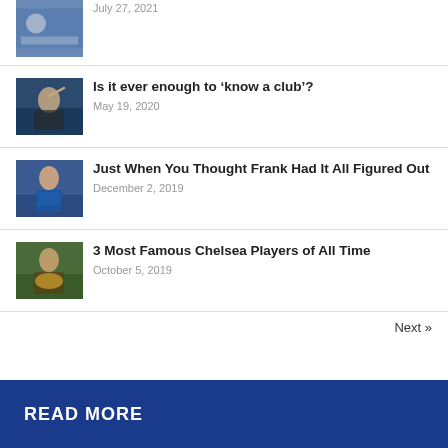[Figure (photo): Partial article thumbnail at top, cropped]
July 27, 2021
[Figure (photo): Man in dark jacket waving, soccer manager]
Is it ever enough to ‘know a club’?
May 19, 2020
[Figure (photo): Chelsea player in blue jersey celebrating]
Just When You Thought Frank Had It All Figured Out
December 2, 2019
[Figure (photo): Chelsea player holding trophy]
3 Most Famous Chelsea Players of All Time
October 5, 2019
Next »
READ MORE